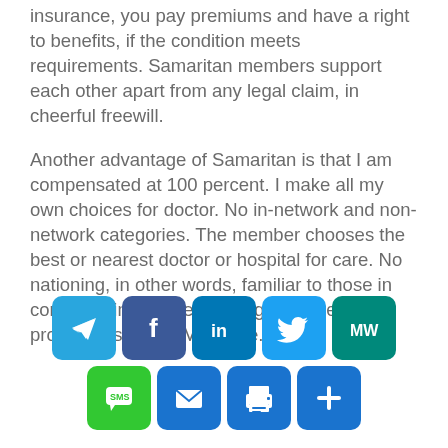insurance, you pay premiums and have a right to benefits, if the condition meets requirements. Samaritan members support each other apart from any legal claim, in cheerful freewill.
Another advantage of Samaritan is that I am compensated at 100 percent. I make all my own choices for doctor. No in-network and non-network categories. The member chooses the best or nearest doctor or hospital for care. No nationing, in other words, familiar to those in corporate insurance and in government programs such as Medicare.
[Figure (infographic): Row of social sharing icon buttons: Telegram, Facebook, LinkedIn, Twitter, MW (MeWe), and a second row with SMS, Email, Print, and More (+).]